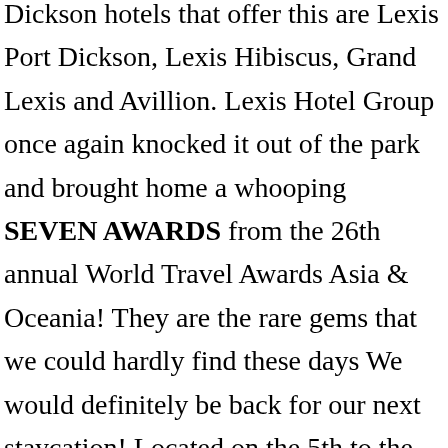Dickson hotels that offer this are Lexis Port Dickson, Lexis Hibiscus, Grand Lexis and Avillion. Lexis Hotel Group once again knocked it out of the park and brought home a whooping SEVEN AWARDS from the 26th annual World Travel Awards Asia & Oceania! They are the rare gems that we could hardly find these days We would definitely be back for our next staycation! Located on the 5th to the 11th floor of the main tower block, these rooms offer sky-high living where guests can enjoy unobstructed views of the